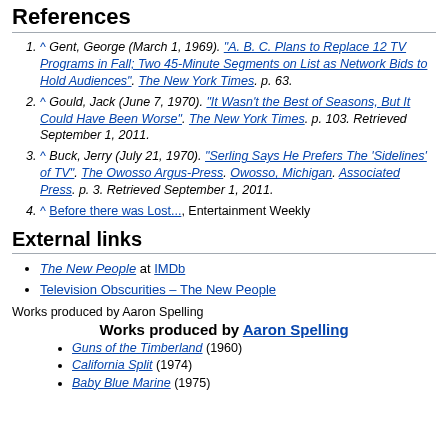References
^ Gent, George (March 1, 1969). "A. B. C. Plans to Replace 12 TV Programs in Fall; Two 45-Minute Segments on List as Network Bids to Hold Audiences". The New York Times. p. 63.
^ Gould, Jack (June 7, 1970). "It Wasn't the Best of Seasons, But It Could Have Been Worse". The New York Times. p. 103. Retrieved September 1, 2011.
^ Buck, Jerry (July 21, 1970). "Serling Says He Prefers The 'Sidelines' of TV". The Owosso Argus-Press. Owosso, Michigan. Associated Press. p. 3. Retrieved September 1, 2011.
^ Before there was Lost..., Entertainment Weekly
External links
The New People at IMDb
Television Obscurities – The New People
Works produced by Aaron Spelling
Works produced by Aaron Spelling
Guns of the Timberland (1960)
California Split (1974)